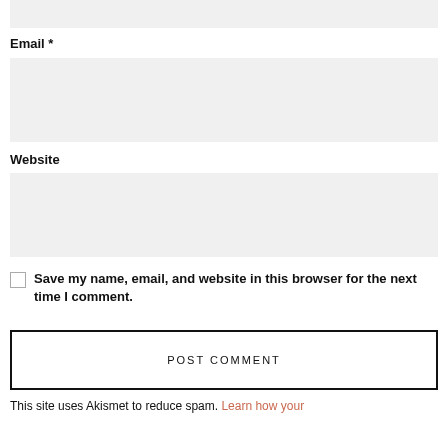[Figure (screenshot): Top portion of a form input box (truncated at top of page), light gray background]
Email *
[Figure (screenshot): Email input field, light gray background rectangle]
Website
[Figure (screenshot): Website input field, light gray background rectangle]
Save my name, email, and website in this browser for the next time I comment.
[Figure (screenshot): POST COMMENT button with black border]
This site uses Akismet to reduce spam. Learn how your